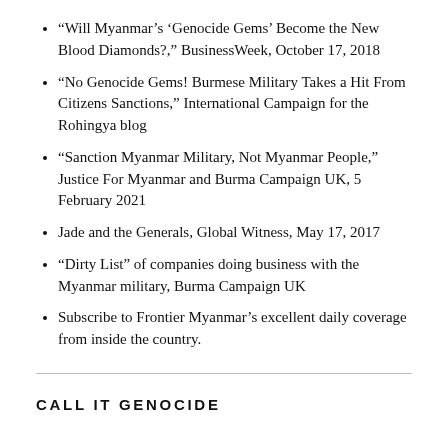“Will Myanmar’s ‘Genocide Gems’ Become the New Blood Diamonds?,” BusinessWeek, October 17, 2018
“No Genocide Gems! Burmese Military Takes a Hit From Citizens Sanctions,” International Campaign for the Rohingya blog
“Sanction Myanmar Military, Not Myanmar People,” Justice For Myanmar and Burma Campaign UK, 5 February 2021
Jade and the Generals, Global Witness, May 17, 2017
“Dirty List” of companies doing business with the Myanmar military, Burma Campaign UK
Subscribe to Frontier Myanmar’s excellent daily coverage from inside the country.
CALL IT GENOCIDE